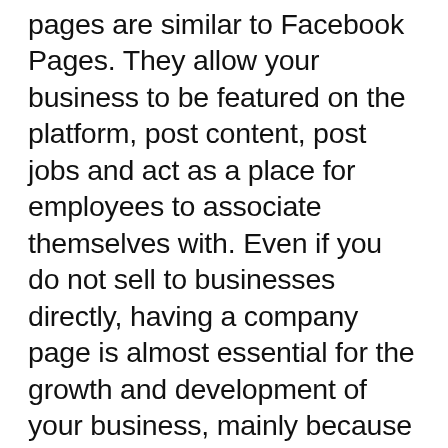pages are similar to Facebook Pages. They allow your business to be featured on the platform, post content, post jobs and act as a place for employees to associate themselves with. Even if you do not sell to businesses directly, having a company page is almost essential for the growth and development of your business, mainly because there is a lot of talent on the platform that might apply for a future position at your company.
Once you have a page set up you can now post on behalf of your company. This will enable you to build an audience